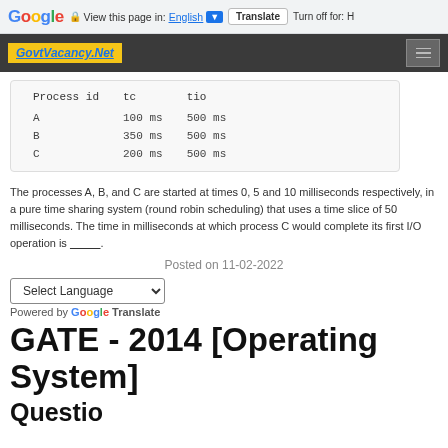Google | View this page in: English [▼] | Translate | Turn off for: H
[Figure (screenshot): GovtVacancy.Net site header logo on dark background with hamburger menu]
| Process id | tc | tio |
| --- | --- | --- |
| A | 100 ms | 500 ms |
| B | 350 ms | 500 ms |
| C | 200 ms | 500 ms |
The processes A, B, and C are started at times 0, 5 and 10 milliseconds respectively, in a pure time sharing system (round robin scheduling) that uses a time slice of 50 milliseconds. The time in milliseconds at which process C would complete its first I/O operation is __________.
Posted on 11-02-2022
Select Language  ▾  Powered by Google Translate
GATE - 2014 [Operating System]
Question